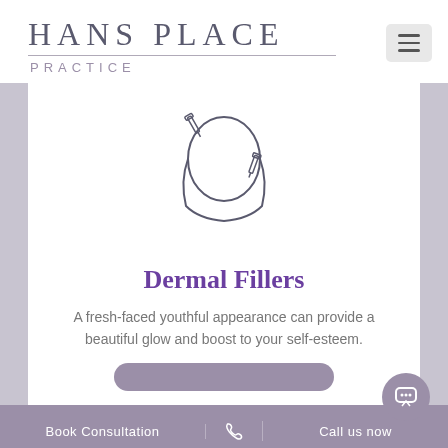HANS PLACE PRACTICE
[Figure (illustration): Line-art icon of a face with dermal filler syringes/needles being applied]
Dermal Fillers
A fresh-faced youthful appearance can provide a beautiful glow and boost to your self-esteem.
Book Consultation | Call us now